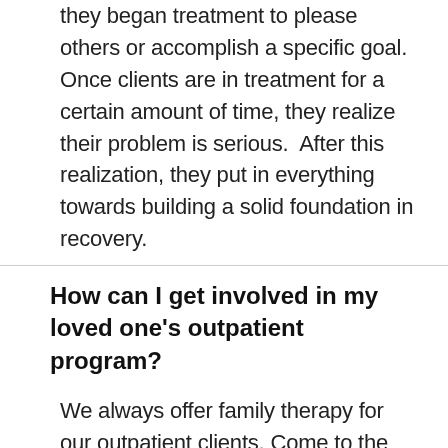they began treatment to please others or accomplish a specific goal. Once clients are in treatment for a certain amount of time, they realize their problem is serious.  After this realization, they put in everything towards building a solid foundation in recovery.
How can I get involved in my loved one's outpatient program?
We always offer family therapy for our outpatient clients. Come to the family